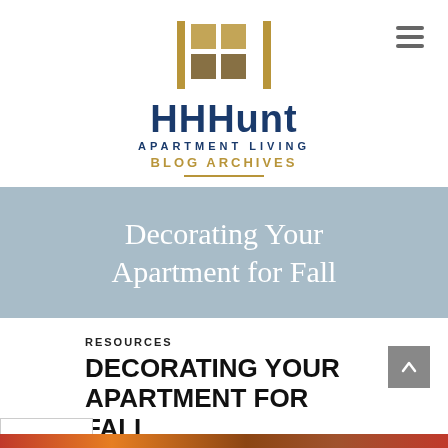[Figure (logo): HHHunt Apartment Living logo with grid icon above bold blue text and gold 'BLOG ARCHIVES' subtitle]
Decorating Your Apartment for Fall
RESOURCES
DECORATING YOUR APARTMENT FOR FALL
ADMIN   SEPTEMBER 7, 2020